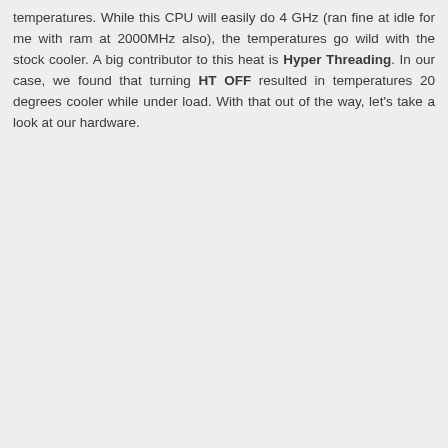temperatures. While this CPU will easily do 4 GHz (ran fine at idle for me with ram at 2000MHz also), the temperatures go wild with the stock cooler. A big contributor to this heat is Hyper Threading. In our case, we found that turning HT OFF resulted in temperatures 20 degrees cooler while under load. With that out of the way, let's take a look at our hardware.